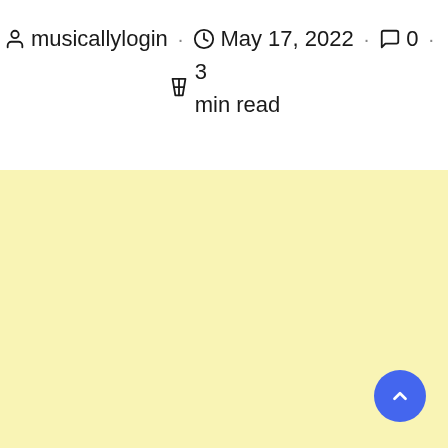musicallylogin · May 17, 2022 · 0 · 3 min read
[Figure (other): Light yellow background advertisement or content block filling the lower portion of the page, with a blue circular scroll-to-top button in the bottom right corner.]